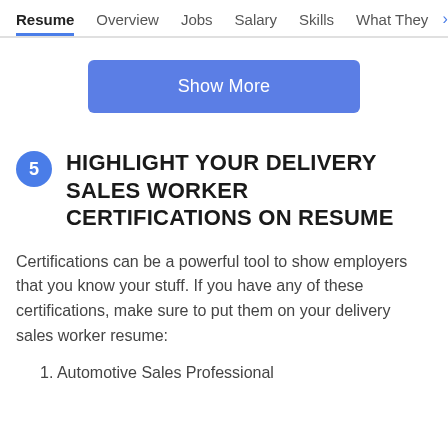Resume  Overview  Jobs  Salary  Skills  What They >
[Figure (other): Show More button - blue rectangular button with white text]
5 HIGHLIGHT YOUR DELIVERY SALES WORKER CERTIFICATIONS ON RESUME
Certifications can be a powerful tool to show employers that you know your stuff. If you have any of these certifications, make sure to put them on your delivery sales worker resume:
1. Automotive Sales Professional